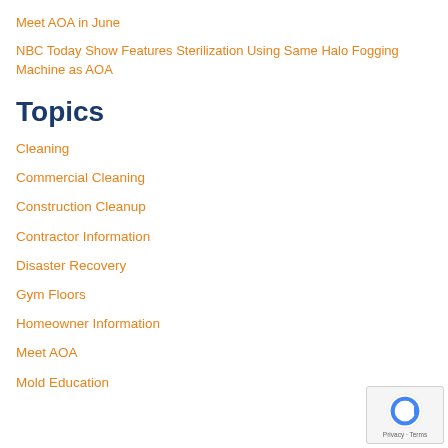Meet AOA in June
NBC Today Show Features Sterilization Using Same Halo Fogging Machine as AOA
Topics
Cleaning
Commercial Cleaning
Construction Cleanup
Contractor Information
Disaster Recovery
Gym Floors
Homeowner Information
Meet AOA
Mold Education